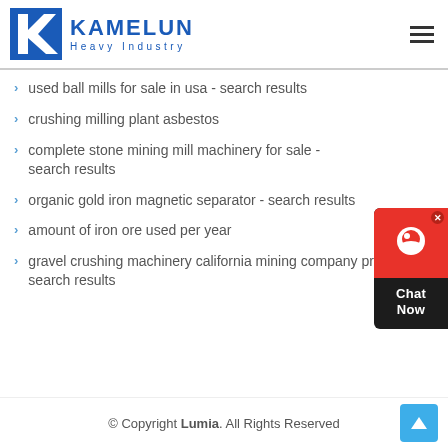KAMELUN Heavy Industry
used ball mills for sale in usa - search results
crushing milling plant asbestos
complete stone mining mill machinery for sale - search results
organic gold iron magnetic separator - search results
amount of iron ore used per year
gravel crushing machinery california mining company price - search results
© Copyright Lumia. All Rights Reserved